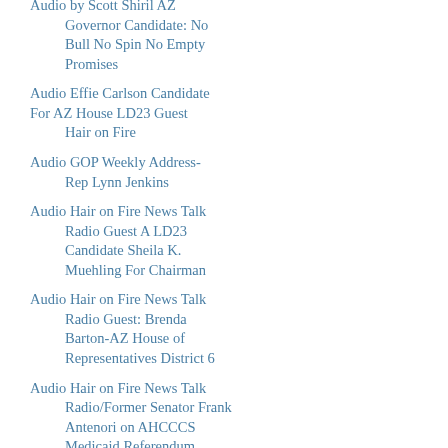Audio by Scott Shiril AZ Governor Candidate: No Bull No Spin No Empty Promises
Audio Effie Carlson Candidate For AZ House LD23 Guest Hair on Fire
Audio GOP Weekly Address- Rep Lynn Jenkins
Audio Hair on Fire News Talk Radio Guest A LD23 Candidate Sheila K. Muehling For Chairman
Audio Hair on Fire News Talk Radio Guest: Brenda Barton-AZ House of Representatives District 6
Audio Hair on Fire News Talk Radio/Former Senator Frank Antenori on AHCCCS Medicaid Referendum
AUDIO MICHAEL CUTLER ON IMMIGRATION